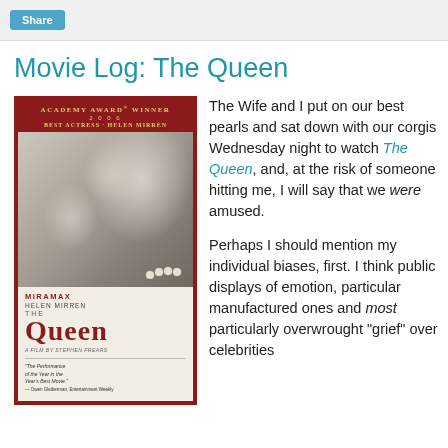Share
Movie Log: The Queen
[Figure (photo): DVD cover of The Queen (2006) featuring Helen Mirren, Academy Award Winner Best Actress. Miramax film directed by Stephen Frears. Red border with close-up of Helen Mirren's face.]
The Wife and I put on our best pearls and sat down with our corgis Wednesday night to watch The Queen, and, at the risk of someone hitting me, I will say that we were amused.

Perhaps I should mention my individual biases, first. I think public displays of emotion, particular manufactured ones and most particularly overwrought "grief" over celebrities